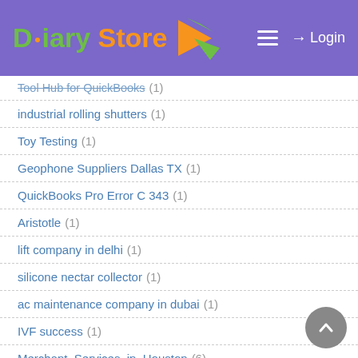Diary Store — Login
Tool Hub for QuickBooks (1)
industrial rolling shutters (1)
Toy Testing (1)
Geophone Suppliers Dallas TX (1)
QuickBooks Pro Error C 343 (1)
Aristotle (1)
lift company in delhi (1)
silicone nectar collector (1)
ac maintenance company in dubai (1)
IVF success (1)
Merchant_Services_in_Houston (6)
opportunity zones (1)
How to Recover from Error 80029c4a in